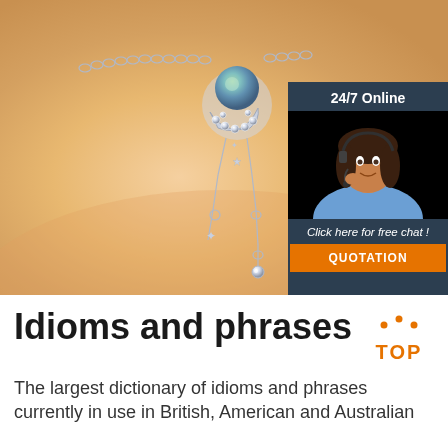[Figure (photo): Close-up photo of a woman's shoulder/collarbone area wearing a silver jewelry necklace with a moon-and-star pendant featuring a teal/iridescent pearl, crystal embellishments, and dangling chain elements with a small star charm and crystal drop.]
[Figure (infographic): Advertisement overlay with dark blue-grey background showing '24/7 Online' text, a woman wearing a headset (customer service representative), text 'Click here for free chat!' in italic white, and an orange button labeled 'QUOTATION']
Idioms and phrases
[Figure (logo): Orange 'TOP' logo with dotted arc above the text]
The largest dictionary of idioms and phrases currently in use in British, American and Australian